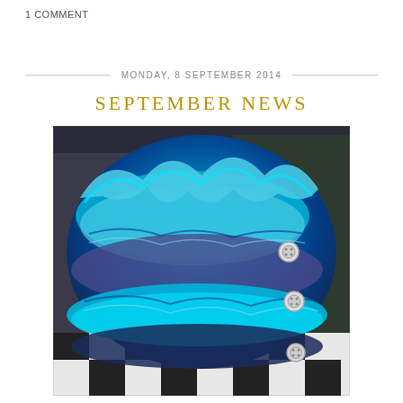1 COMMENT
MONDAY, 8 SEPTEMBER 2014
SEPTEMBER NEWS
[Figure (photo): A crocheted cowl or neckwarmer in shades of blue and teal with white buttons on the side, photographed on a black and white checkered floor with a room in the background.]